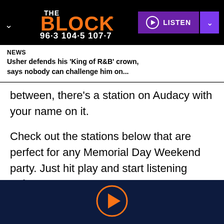[Figure (logo): The Block radio station logo with frequencies 96.3 104.5 107.7 in orange and white on black background]
NEWS
Usher defends his 'King of R&B' crown, says nobody can challenge him on...
between, there’s a station on Audacy with your name on it.
Check out the stations below that are perfect for any Memorial Day Weekend party. Just hit play and start listening today!
[Figure (other): Orange play button circle icon on dark navy background]